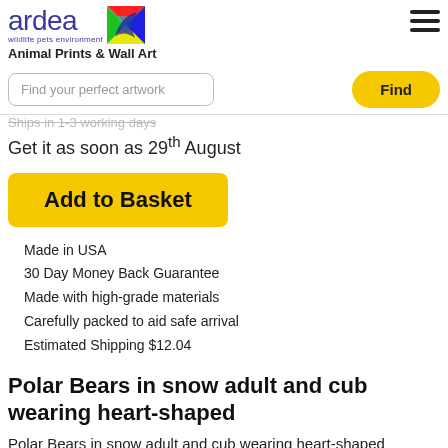[Figure (logo): Ardea wildlife pets environment logo with colorful bird graphic]
Animal Prints & Wall Art
[Figure (screenshot): Search bar with text 'Find your perfect artwork' and a yellow 'Find' button]
Ships in 1-3 working days
Get it as soon as 29th August
[Figure (other): Yellow 'Add to Basket' button]
Made in USA
30 Day Money Back Guarantee
Made with high-grade materials
Carefully packed to aid safe arrival
Estimated Shipping $12.04
Polar Bears in snow adult and cub wearing heart-shaped
Polar Bears in snow adult and cub wearing heart-shaped earmuffs. Data...